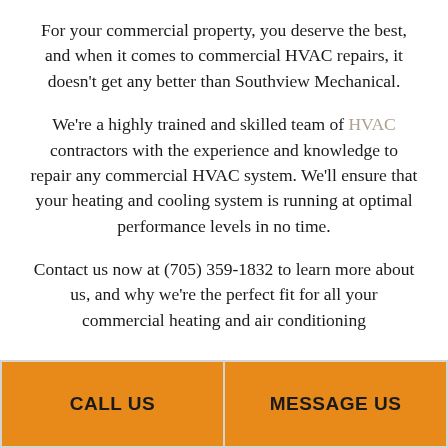For your commercial property, you deserve the best, and when it comes to commercial HVAC repairs, it doesn't get any better than Southview Mechanical.
We're a highly trained and skilled team of HVAC contractors with the experience and knowledge to repair any commercial HVAC system. We'll ensure that your heating and cooling system is running at optimal performance levels in no time.
Contact us now at (705) 359-1832 to learn more about us, and why we're the perfect fit for all your commercial heating and air conditioning
CALL US
MESSAGE US